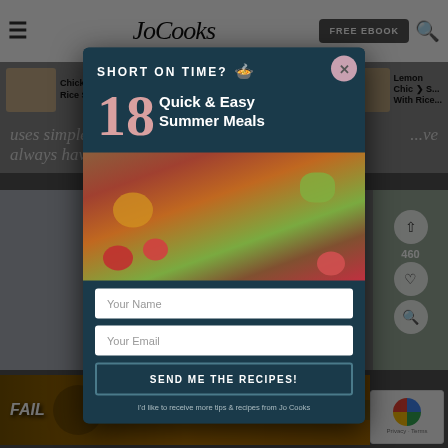JoCooks
[Figure (screenshot): Website screenshot of JoCooks cooking blog with popup modal overlay. The modal shows 'SHORT ON TIME?' heading with a pot icon, '18 Quick & Easy Summer Meals' text, a salad photo, name and email input fields, and a 'SEND ME THE RECIPES!' button. Background shows recipe thumbnails and body text.]
SHORT ON TIME? 🍲
18 Quick & Easy Summer Meals
Your Name
Your Email
SEND ME THE RECIPES!
I'd like to receive more tips & recipes from Jo Cooks